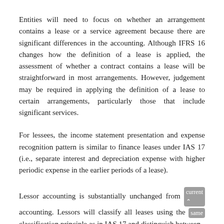Entities will need to focus on whether an arrangement contains a lease or a service agreement because there are significant differences in the accounting. Although IFRS 16 changes how the definition of a lease is applied, the assessment of whether a contract contains a lease will be straightforward in most arrangements. However, judgement may be required in applying the definition of a lease to certain arrangements, particularly those that include significant services.
For lessees, the income statement presentation and expense recognition pattern is similar to finance leases under IAS 17 (i.e., separate interest and depreciation expense with higher periodic expense in the earlier periods of a lease).
Lessor accounting is substantially unchanged from current accounting. Lessors will classify all leases using the same classification principle as in IAS 17 and distinguish between